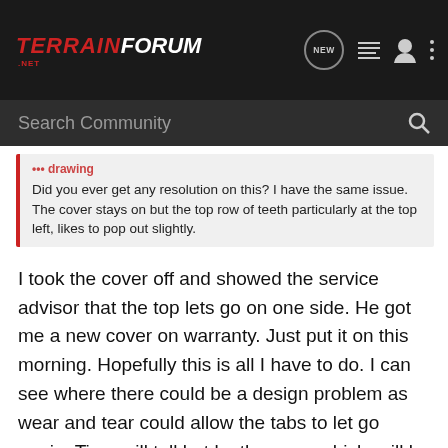TERRAIN FORUM .NET
Search Community
Did you ever get any resolution on this? I have the same issue. The cover stays on but the top row of teeth particularly at the top left, likes to pop out slightly.
I took the cover off and showed the service advisor that the top lets go on one side. He got me a new cover on warranty. Just put it on this morning. Hopefully this is all I have to do. I can see where there could be a design problem as wear and tear could allow the tabs to let go again. Time will tell but by then my vehicle will be out of warranty.
jimtech · Registered